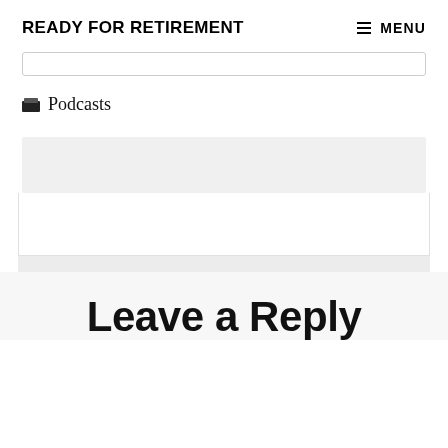READY FOR RETIREMENT
MENU
Podcasts
Leave a Reply